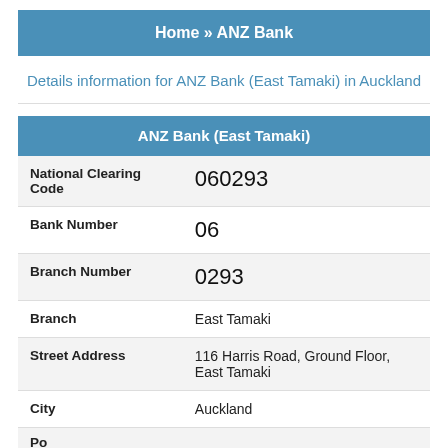Home » ANZ Bank
Details information for ANZ Bank (East Tamaki) in Auckland
| Field | Value |
| --- | --- |
| National Clearing Code | 060293 |
| Bank Number | 06 |
| Branch Number | 0293 |
| Branch | East Tamaki |
| Street Address | 116 Harris Road, Ground Floor, East Tamaki |
| City | Auckland |
| Postcode |  |